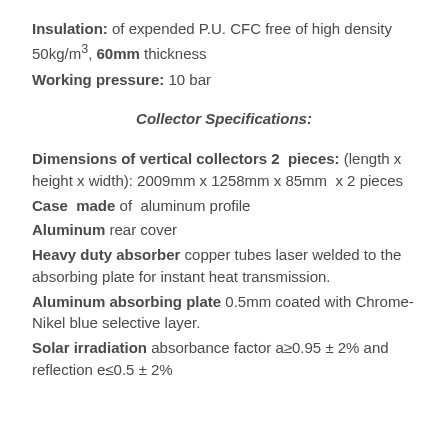Insulation: of expended P.U. CFC free of high density 50kg/m³, 60mm thickness
Working pressure: 10 bar
Collector Specifications:
Dimensions of vertical collectors 2  pieces: (length x height x width): 2009mm x 1258mm x 85mm  x 2 pieces
Case  made of  aluminum profile
Aluminum rear cover
Heavy duty absorber copper tubes laser welded to the absorbing plate for instant heat transmission.
Aluminum absorbing plate 0.5mm coated with Chrome-Nikel blue selective layer.
Solar irradiation absorbance factor a≥0.95 ± 2% and reflection e≤0.5 ± 2%